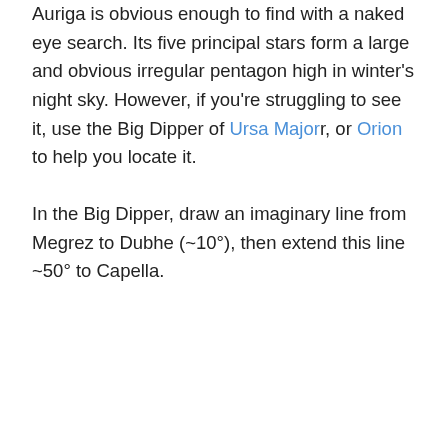Auriga is obvious enough to find with a naked eye search. Its five principal stars form a large and obvious irregular pentagon high in winter's night sky. However, if you're struggling to see it, use the Big Dipper of Ursa Major, or Orion to help you locate it.
In the Big Dipper, draw an imaginary line from Megrez to Dubhe (~10°), then extend this line ~50° to Capella.